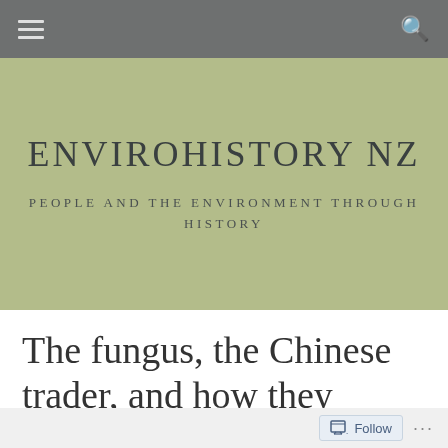ENVIROHISTORY NZ — navigation bar with hamburger menu and search icon
ENVIROHISTORY NZ
PEOPLE AND THE ENVIRONMENT THROUGH HISTORY
The fungus, the Chinese trader, and how they helped the Envirohistory